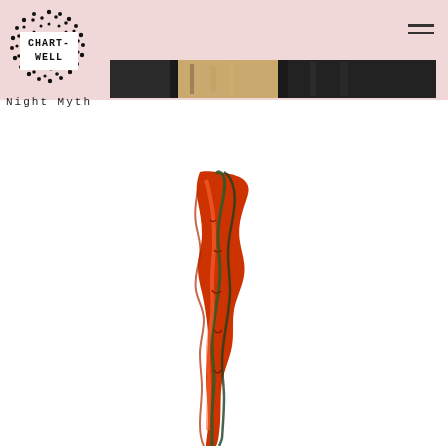[Figure (logo): Chartwell logo: circular cluster of black dots with CHART-WELL text in white inside]
Night Myth
[Figure (photo): Narrow horizontal banner strip showing fragments of artworks in dark and ochre tones]
[Figure (photo): Tall vertical painting of a figure rendered in orange-red and dark green strokes on white background]